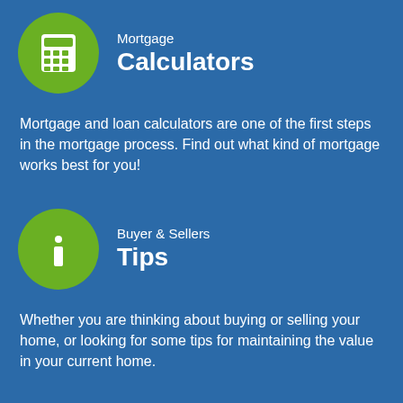[Figure (infographic): Green circle with white calculator icon]
Mortgage Calculators
Mortgage and loan calculators are one of the first steps in the mortgage process. Find out what kind of mortgage works best for you!
[Figure (infographic): Green circle with white info/letter i icon]
Buyer & Sellers Tips
Whether you are thinking about buying or selling your home, or looking for some tips for maintaining the value in your current home.